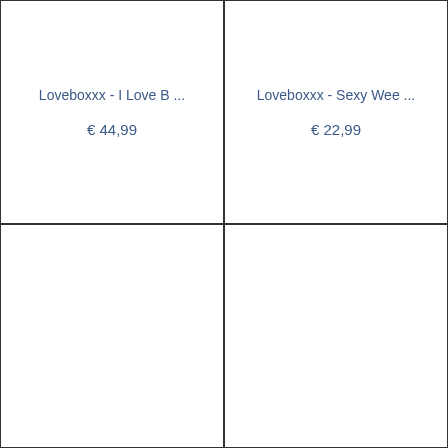Loveboxxx - I Love B ...
€ 44,99
Loveboxxx - Sexy Wee ...
€ 22,99
[Figure (other): Empty product card placeholder, bottom-left]
[Figure (other): Empty product card placeholder, bottom-right]